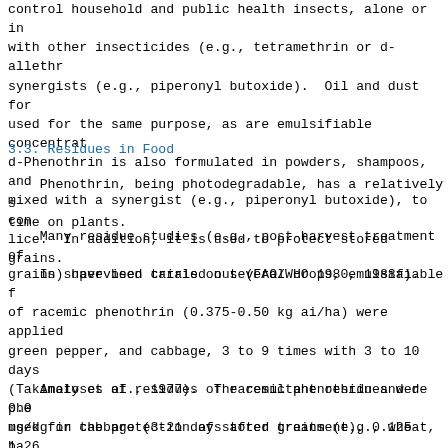control household and public health insects, alone or in with other insecticides (e.g., tetramethrin or d-allethr synergists (e.g., piperonyl butoxide).  Oil and dust for used for the same purpose, as are emulsifiable concentrat d-Phenothrin is also formulated in powders, shampoos, and mixed with a synergist (e.g., piperonyl butoxide), to con lice.  In addition, it is used to protect stored grains.
3.3.  Residues in Food
Phenothrin, being photodegradable, has a relatively s time on plants.
Many residue studies (e.g., post-harvest treatment of grains) have been carried out (FAO/WHO 1980, 1988a).
In supervised trials on several crops, emulsifiable f of racemic phenothrin (0.375-0.50 kg ai/ha) were applied green pepper, and cabbage, 3 to 9 times with 3 to 10 days (Takimoto et al., 1977).  The resultant residues were 0.0 mg/kg in cabbage (3-21 days after treatment), 0.125-1.26 green pepper (1-7 days after treatment), and 0.86-2.54 mg 0.012-0.25 mg/kg in straw and hulled rice, respectively ( after treatment in both cases).
Analyses of residues of racemic phenothrin and d-phe used for the protection of stored grains (e.g., wheat, ba sorghum) have been carried out. The [1R,trans] or [1R,cis of [methylene-14C]-phenothrin was applied at 4 mg/kg to w grains (11% moisture content) and stored at 15°C or 30°C